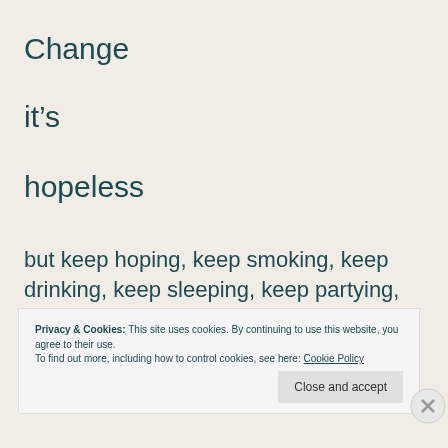Change
it's
hopeless
but keep hoping, keep smoking, keep drinking, keep sleeping, keep partying, keep dreaming
Privacy & Cookies: This site uses cookies. By continuing to use this website, you agree to their use.
To find out more, including how to control cookies, see here: Cookie Policy
Close and accept